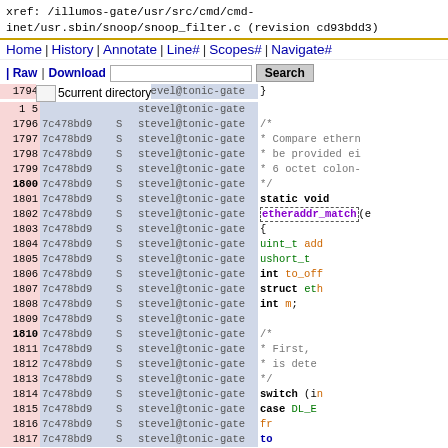xref: /illumos-gate/usr/src/cmd/cmd-inet/usr.sbin/snoop/snoop_filter.c (revision cd93bdd3)
Home | History | Annotate | Line# | Scopes# | Navigate#
| Raw | Download   [search box]  Search  current directory
Code listing lines 1793-1817 with revision 7c478bd9, author stevel@tonic-gate, and source code including etheraddr_match function